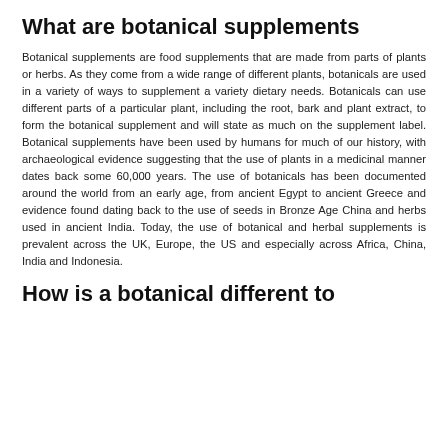What are botanical supplements
Botanical supplements are food supplements that are made from parts of plants or herbs. As they come from a wide range of different plants, botanicals are used in a variety of ways to supplement a variety dietary needs. Botanicals can use different parts of a particular plant, including the root, bark and plant extract, to form the botanical supplement and will state as much on the supplement label. Botanical supplements have been used by humans for much of our history, with archaeological evidence suggesting that the use of plants in a medicinal manner dates back some 60,000 years. The use of botanicals has been documented around the world from an early age, from ancient Egypt to ancient Greece and evidence found dating back to the use of seeds in Bronze Age China and herbs used in ancient India. Today, the use of botanical and herbal supplements is prevalent across the UK, Europe, the US and especially across Africa, China, India and Indonesia.
How is a botanical different to